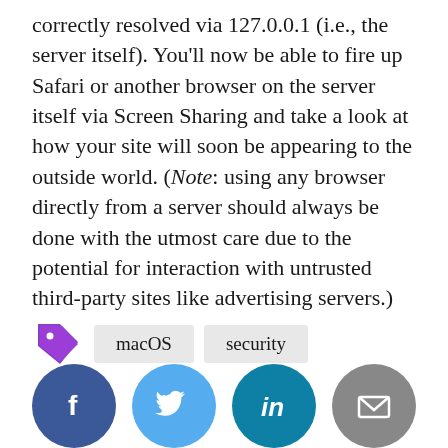correctly resolved via 127.0.0.1 (i.e., the server itself). You'll now be able to fire up Safari or another browser on the server itself via Screen Sharing and take a look at how your site will soon be appearing to the outside world. (Note: using any browser directly from a server should always be done with the utmost care due to the potential for interaction with untrusted third-party sites like advertising servers.)
Tags: macOS, security
[Figure (infographic): Social share buttons: Facebook, Twitter, LinkedIn, Email]